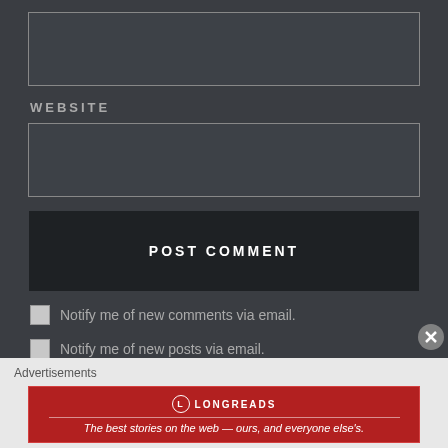[Figure (screenshot): Empty text input box at top of form]
WEBSITE
[Figure (screenshot): Empty website URL input box]
POST COMMENT
Notify me of new comments via email.
Notify me of new posts via email.
Advertisements
[Figure (logo): Longreads advertisement banner: The best stories on the web — ours, and everyone else's.]